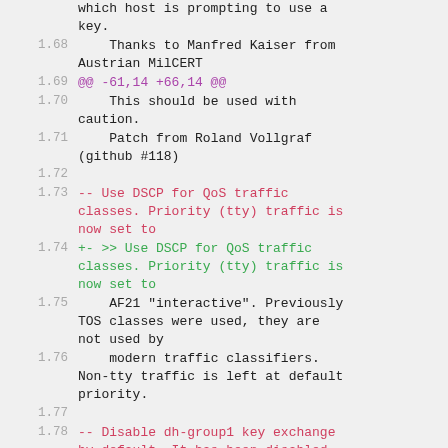which host is prompting to use a key.
1.68    Thanks to Manfred Kaiser from Austrian MilCERT
1.69    @@ -61,14 +66,14 @@
1.70    This should be used with caution.
1.71    Patch from Roland Vollgraf (github #118)
1.72
1.73    -- Use DSCP for QoS traffic classes. Priority (tty) traffic is now set to
1.74    +- >> Use DSCP for QoS traffic classes. Priority (tty) traffic is now set to
1.75    AF21 "interactive". Previously TOS classes were used, they are not used by
1.76    modern traffic classifiers. Non-tty traffic is left at default priority.
1.77
1.78    -- Disable dh-group1 key exchange by default. It has been disabled server
1.79    +- >> Disable dh-group1 key exchange by default. It has been disabled server
1.80    side by default since 2018.